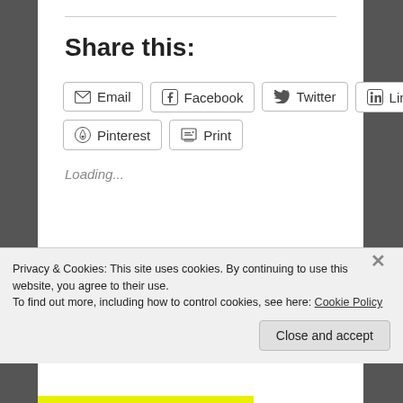Share this:
Email
Facebook
Twitter
LinkedIn
Pinterest
Print
Loading...
Is this Really Worth My Time?
Privacy & Cookies: This site uses cookies. By continuing to use this website, you agree to their use.
To find out more, including how to control cookies, see here: Cookie Policy
Close and accept